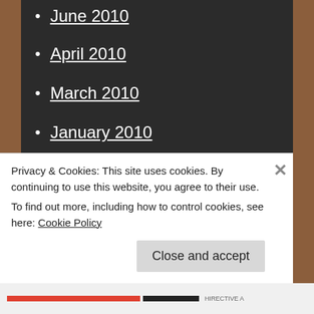June 2010
April 2010
March 2010
January 2010
December 2009
November 2009
October 2009
September 2009
August 2009
July 2009
June 2009
May 2009
Privacy & Cookies: This site uses cookies. By continuing to use this website, you agree to their use.
To find out more, including how to control cookies, see here: Cookie Policy